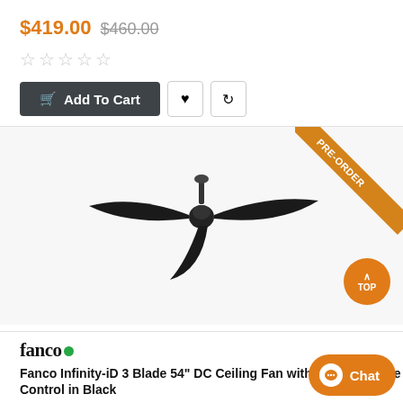$419.00 $460.00
★★★★★ (0 reviews)
Add To Cart
[Figure (photo): Black 3-blade ceiling fan with PRE-ORDER ribbon banner in top right corner]
[Figure (logo): Fanco brand logo with green dot]
Fanco Infinity-iD 3 Blade 54" DC Ceiling Fan with Smart Remote Control in Black